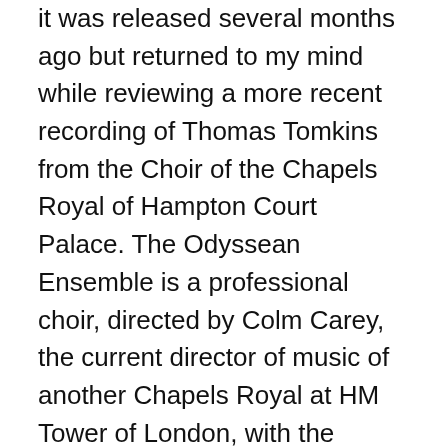it was released several months ago but returned to my mind while reviewing a more recent recording of Thomas Tomkins from the Choir of the Chapels Royal of Hampton Court Palace. The Odyssean Ensemble is a professional choir, directed by Colm Carey, the current director of music of another Chapels Royal at HM Tower of London, with the deputy director Christian Wilson playing the organ. A little bird tells me that the third of London's Chapels Royal, the senior of the three, at St James' Palace is also preparing a recording.
The music is centred on the Great Service of William Byrd, together with some related anthems. They perform from a new performing edition by Andrew Johnstone, whose booklet notes set the scene. It was not recorded in either of the current Tower of London Chapels Royal (there are two), but in St Jude-on-the-Hill in Hampstead Garden